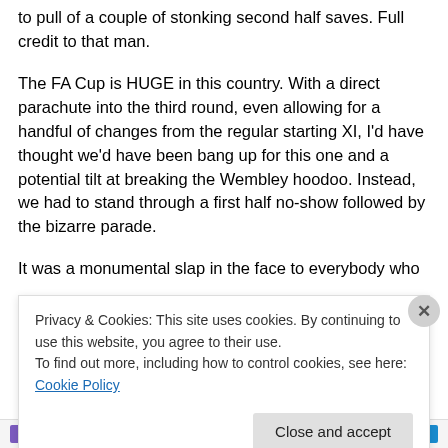to pull of a couple of stonking second half saves. Full credit to that man.
The FA Cup is HUGE in this country. With a direct parachute into the third round, even allowing for a handful of changes from the regular starting XI, I'd have thought we'd have been bang up for this one and a potential tilt at breaking the Wembley hoodoo. Instead, we had to stand through a first half no-show followed by the bizarre parade.
It was a monumental slap in the face to everybody who
Privacy & Cookies: This site uses cookies. By continuing to use this website, you agree to their use.
To find out more, including how to control cookies, see here: Cookie Policy
Close and accept